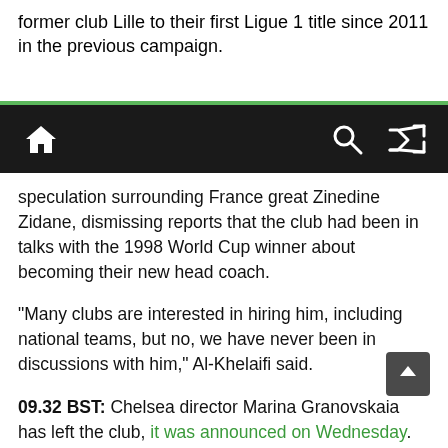former club Lille to their first Ligue 1 title since 2011 in the previous campaign.
Navigation bar with home, search, and shuffle icons
speculation surrounding France great Zinedine Zidane, dismissing reports that the club had been in talks with the 1998 World Cup winner about becoming their new head coach.
“Many clubs are interested in hiring him, including national teams, but no, we have never been in discussions with him,” Al-Khelaifi said.
09.32 BST: Chelsea director Marina Granovskaia has left the club, it was announced on Wednesday.
Granovskaia follows chairman Bruce Buck in leaving the Premier League club following the takeover in May by a consortium led by LA Dodgers owner Todd Boehly. The American will now serve as “interim sporting director,”